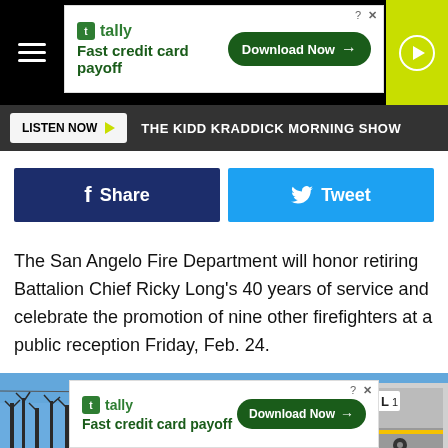[Figure (screenshot): Top advertisement banner: Tally 'Fast credit card payoff' with green Download Now button, on black background]
[Figure (logo): 98.7 KISS FM All The Hits radio station logo in black header with yellow-green KISS text]
THE KIDD KRADDICK MORNING SHOW
Share
Tweet
The San Angelo Fire Department will honor retiring Battalion Chief Ricky Long's 40 years of service and celebrate the promotion of nine other firefighters at a public reception Friday, Feb. 24.
[Figure (photo): Partial photo of outdoor scene with blue sky, bare trees on left, and what appears to be a fire truck on the right edge]
[Figure (screenshot): Bottom advertisement banner: Tally 'Fast credit card payoff' with green Download Now button]